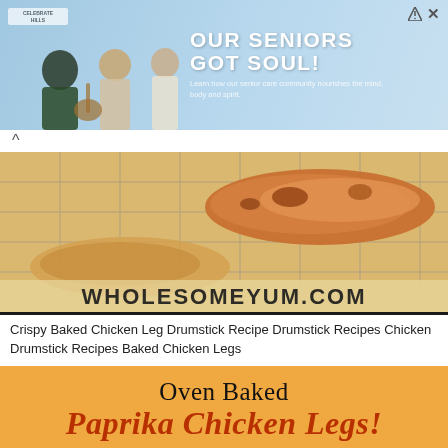[Figure (photo): Advertisement banner with light blue background showing people including an elderly man with a guitar. Text reads 'OUR SENIORS GOT SOUL!' with a tagline about senior community.]
[Figure (photo): Photo of crispy baked chicken leg drumsticks on a wire rack with watermark text WHOLESOMEYUM.COM overlaid.]
Crispy Baked Chicken Leg Drumstick Recipe Drumstick Recipes Chicken Drumstick Recipes Baked Chicken Legs
[Figure (illustration): Orange card graphic with text 'Oven Baked Paprika Chicken Legs!' in black and dark red script.]
[Figure (photo): Photo of oven baked paprika chicken legs on a light gray background, partially visible.]